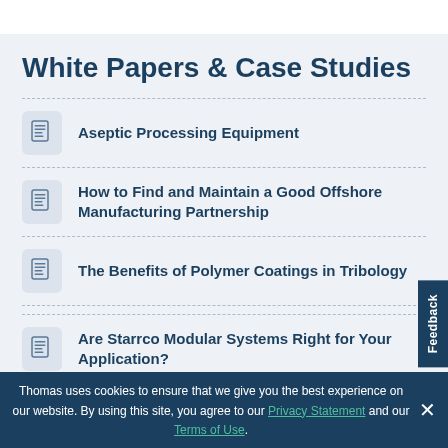White Papers & Case Studies
Aseptic Processing Equipment
How to Find and Maintain a Good Offshore Manufacturing Partnership
The Benefits of Polymer Coatings in Tribology
Are Starrco Modular Systems Right for Your Application?
Thomas uses cookies to ensure that we give you the best experience on our website. By using this site, you agree to our Privacy Statement and our Terms of Use.